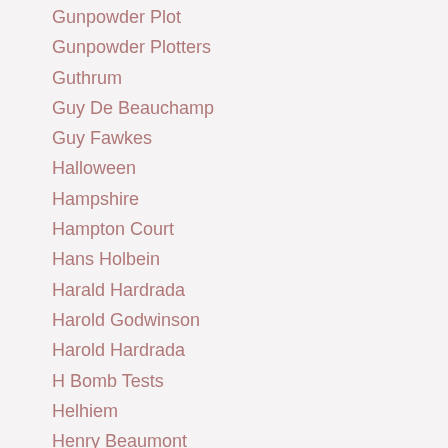Gunpowder Plot
Gunpowder Plotters
Guthrum
Guy De Beauchamp
Guy Fawkes
Halloween
Hampshire
Hampton Court
Hans Holbein
Harald Hardrada
Harold Godwinson
Harold Hardrada
H Bomb Tests
Helhiem
Henry Beaumont
Henry Bolingbroke (Henry IV)
Henry Brooke (Lord Cobham)
Henry Grey Duke Of Suffolk
Henry Howard